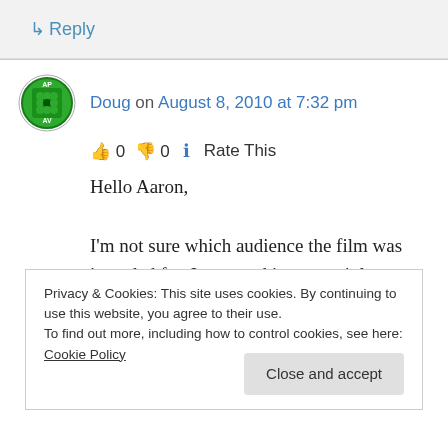↳ Reply
Doug on August 8, 2010 at 7:32 pm
👍 0 👎 0 ℹ Rate This
Hello Aaron,
I'm not sure which audience the film was intended for. I assumed it was mainly as an evangelistic tool however many in the theater seemed to be deeply moved by this film-I
Privacy & Cookies: This site uses cookies. By continuing to use this website, you agree to their use.
To find out more, including how to control cookies, see here: Cookie Policy
Close and accept